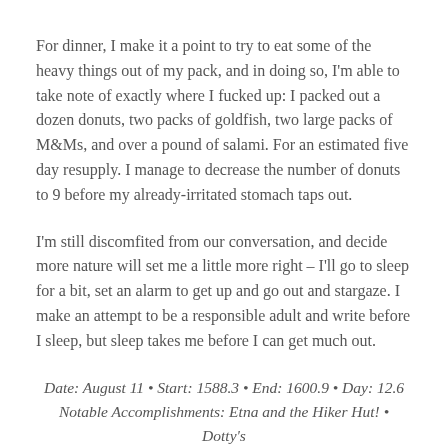For dinner, I make it a point to try to eat some of the heavy things out of my pack, and in doing so, I'm able to take note of exactly where I fucked up: I packed out a dozen donuts, two packs of goldfish, two large packs of M&Ms, and over a pound of salami. For an estimated five day resupply. I manage to decrease the number of donuts to 9 before my already-irritated stomach taps out.
I'm still discomfited from our conversation, and decide more nature will set me a little more right – I'll go to sleep for a bit, set an alarm to get up and go out and stargaze. I make an attempt to be a responsible adult and write before I sleep, but sleep takes me before I can get much out.
Date: August 11 • Start: 1588.3 • End: 1600.9 • Day: 12.6 Notable Accomplishments: Etna and the Hiker Hut! • Dotty's and resupply • Made it out of town with all this stupid food